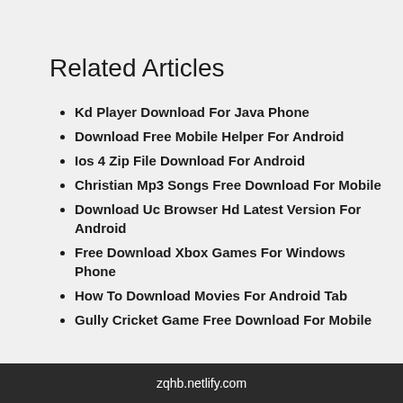Related Articles
Kd Player Download For Java Phone
Download Free Mobile Helper For Android
Ios 4 Zip File Download For Android
Christian Mp3 Songs Free Download For Mobile
Download Uc Browser Hd Latest Version For Android
Free Download Xbox Games For Windows Phone
How To Download Movies For Android Tab
Gully Cricket Game Free Download For Mobile
zqhb.netlify.com